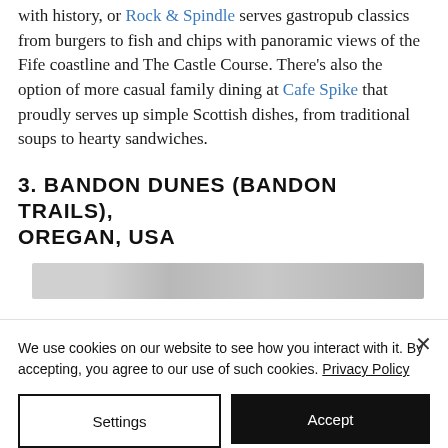with history, or Rock & Spindle serves gastropub classics from burgers to fish and chips with panoramic views of the Fife coastline and The Castle Course. There's also the option of more casual family dining at Cafe Spike that proudly serves up simple Scottish dishes, from traditional soups to hearty sandwiches.
3. BANDON DUNES (BANDON TRAILS), OREGAN, USA
[Figure (photo): Partially visible image, mostly obscured by cookie banner overlay]
We use cookies on our website to see how you interact with it. By accepting, you agree to our use of such cookies. Privacy Policy